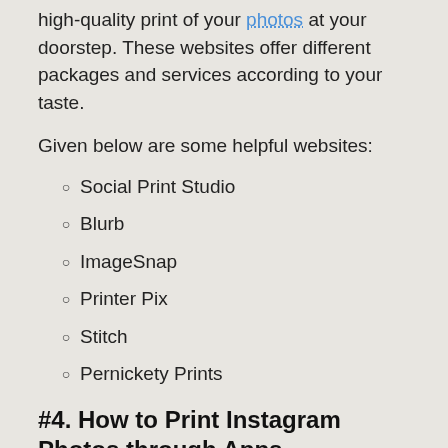high-quality print of your photos at your doorstep. These websites offer different packages and services according to your taste.
Given below are some helpful websites:
Social Print Studio
Blurb
ImageSnap
Printer Pix
Stitch
Pernickety Prints
#4. How to Print Instagram Photos through Apps
Another option for not having a printer is to print your photos via different apps. There are various